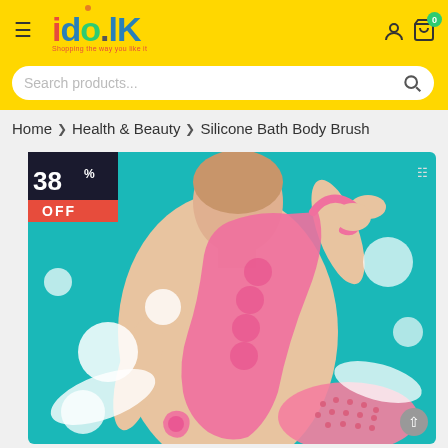ido.lk - Shopping the way you like it
Search products...
Home > Health & Beauty > Silicone Bath Body Brush
[Figure (photo): Product page for a pink Silicone Bath Body Brush with 38% OFF discount badge. Shows a person using the pink silicone scrubbing belt on their back against a teal background with soap bubbles.]